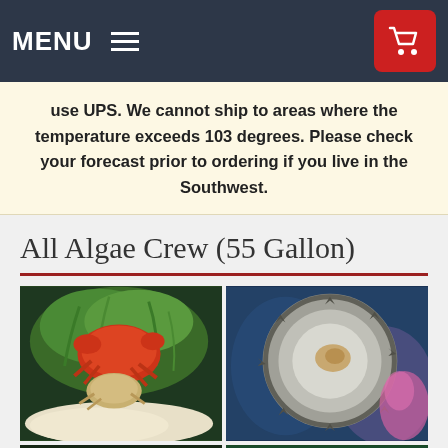MENU
use UPS. We cannot ship to areas where the temperature exceeds 103 degrees. Please check your forecast prior to ordering if you live in the Southwest.
All Algae Crew (55 Gallon)
[Figure (photo): Four photos in a 2x2 grid: top-left shows a red crab on green algae with white substrate; top-right shows a close-up of a turbo snail shell attached to glass; bottom-left shows a sea cucumber or similar marine invertebrate on rock; bottom-right shows green caulerpa or similar algae.]